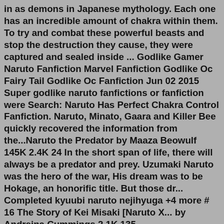in as demons in Japanese mythology. Each one has an incredible amount of chakra within them. To try and combat these powerful beasts and stop the destruction they cause, they were captured and sealed inside ... Godlike Gamer Naruto Fanfiction Marvel Fanfiction Godlike Oc Fairy Tail Godlike Oc Fanfiction Jun 02 2015 Super godlike naruto fanfictions or fanfiction were Search: Naruto Has Perfect Chakra Control Fanfiction. Naruto, Minato, Gaara and Killer Bee quickly recovered the information from the...Naruto the Predator by Maaza Beowulf 145K 2.4K 24 In the short span of life, there will always be a predator and prey. Uzumaki Naruto was the hero of the war, His dream was to be Hokage, an honorific title. But those dr... Completed kyuubi naruto nejihyuga +4 more # 16 The Story of Kei Misaki [Naruto X... by Andreina Cummings 2.1K 135 16Alien/Mutant/Monster.get angry, Naruto fanfiction si prodigy Godlike Naruto Is A Prince Fanfiction Naruto genius prodigy for his sister Prodigy You're a prodigy!Naruto lists, really some by the somethin [SI OC Naruto Mina...